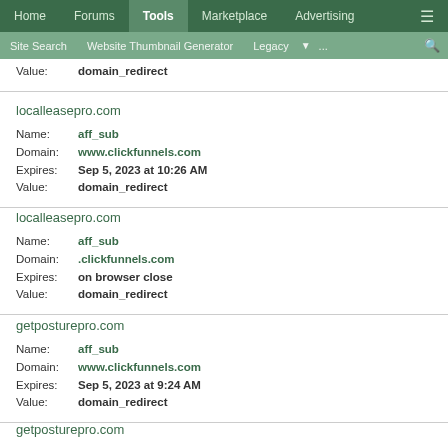Home | Forums | Tools | Marketplace | Advertising | ≡ | Site Search | Website Thumbnail Generator | Legacy | ... | 🔍
Value: domain_redirect
localleasepro.com
Name: aff_sub
Domain: www.clickfunnels.com
Expires: Sep 5, 2023 at 10:26 AM
Value: domain_redirect
localleasepro.com
Name: aff_sub
Domain: .clickfunnels.com
Expires: on browser close
Value: domain_redirect
getposturepro.com
Name: aff_sub
Domain: www.clickfunnels.com
Expires: Sep 5, 2023 at 9:24 AM
Value: domain_redirect
getposturepro.com
Name: aff_sub